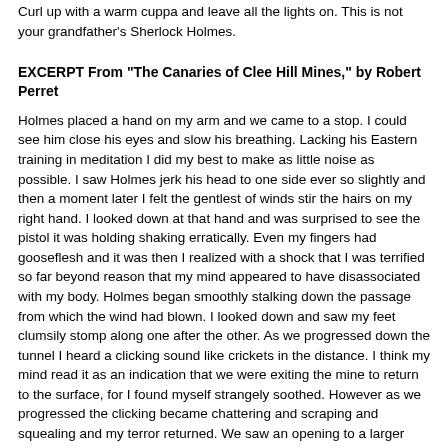Curl up with a warm cuppa and leave all the lights on. This is not your grandfather's Sherlock Holmes.
EXCERPT From "The Canaries of Clee Hill Mines," by Robert Perret
Holmes placed a hand on my arm and we came to a stop. I could see him close his eyes and slow his breathing. Lacking his Eastern training in meditation I did my best to make as little noise as possible. I saw Holmes jerk his head to one side ever so slightly and then a moment later I felt the gentlest of winds stir the hairs on my right hand. I looked down at that hand and was surprised to see the pistol it was holding shaking erratically. Even my fingers had gooseflesh and it was then I realized with a shock that I was terrified so far beyond reason that my mind appeared to have disassociated with my body. Holmes began smoothly stalking down the passage from which the wind had blown. I looked down and saw my feet clumsily stomp along one after the other. As we progressed down the tunnel I heard a clicking sound like crickets in the distance. I think my mind read it as an indication that we were exiting the mine to return to the surface, for I found myself strangely soothed. However as we progressed the clicking became chattering and scraping and squealing and my terror returned. We saw an opening to a larger chamber ahead and the inhuman sounds now echoed all around us. In the lamplight I saw a